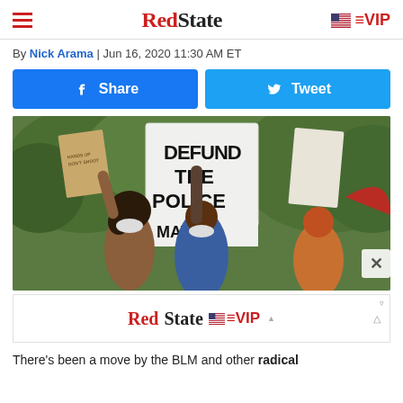RedState | VIP
By Nick Arama | Jun 16, 2020 11:30 AM ET
[Figure (screenshot): Two social share buttons: Facebook Share (blue) and Twitter Tweet (blue)]
[Figure (photo): Protest photo showing demonstrators holding signs including 'DEFUND THE POLICE', protesters wearing masks, outdoor setting with green trees in background]
[Figure (advertisement): RedState VIP advertisement banner with an X close button]
There's been a move by the BLM and other radical